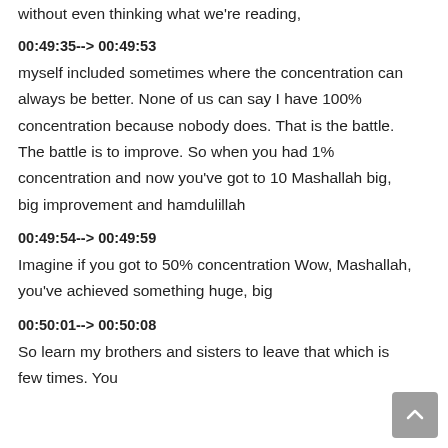without even thinking what we're reading,
00:49:35--> 00:49:53
myself included sometimes where the concentration can always be better. None of us can say I have 100% concentration because nobody does. That is the battle. The battle is to improve. So when you had 1% concentration and now you've got to 10 Mashallah big, big improvement and hamdulillah
00:49:54--> 00:49:59
Imagine if you got to 50% concentration Wow, Mashallah, you've achieved something huge, big
00:50:01--> 00:50:08
So learn my brothers and sisters to leave that which is few times. You